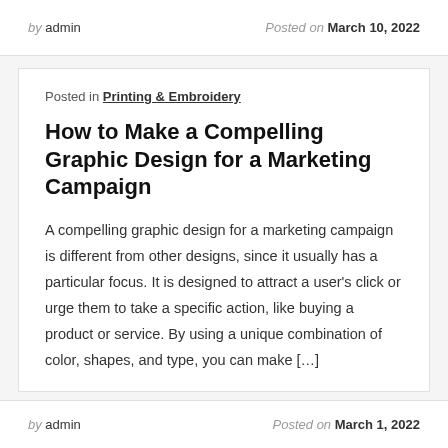by admin | Posted on March 10, 2022
Posted in Printing & Embroidery
How to Make a Compelling Graphic Design for a Marketing Campaign
A compelling graphic design for a marketing campaign is different from other designs, since it usually has a particular focus. It is designed to attract a user's click or urge them to take a specific action, like buying a product or service. By using a unique combination of color, shapes, and type, you can make [...]
by admin | Posted on March 1, 2022